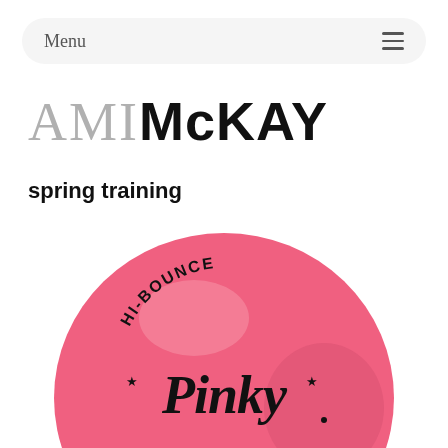Menu
AMIMcKAY
spring training
[Figure (photo): A pink Hi-Bounce Pinky rubber ball photographed from above, showing the brand name 'HI-BOUNCE' arched around the top and 'Pinky' in large script lettering in the center, with small star decorations on either side.]